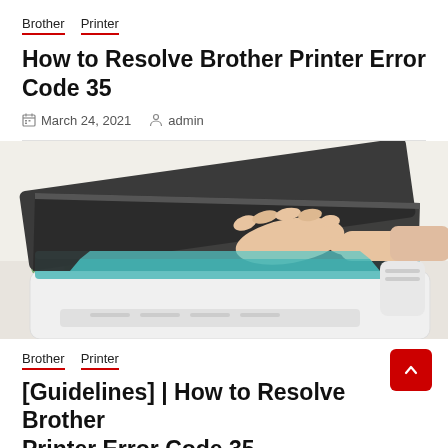Brother  Printer
How to Resolve Brother Printer Error Code 35
March 24, 2021   admin
[Figure (photo): Person's hand placing a teal/blue document onto the glass scanner bed of an open white Brother printer/scanner, with a plant visible in the background on a white surface.]
Brother  Printer
[Guidelines] | How to Resolve Brother Printer Error Code 35 ...